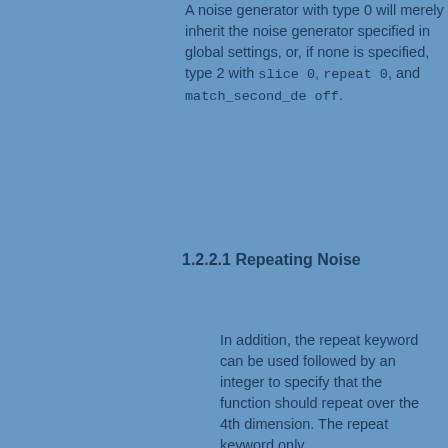A noise generator with type 0 will merely inherit the noise generator specified in global settings, or, if none is specified, type 2 with slice 0, repeat 0, and match_second_de off.
1.2.2.1 Repeating Noise
In addition, the repeat keyword can be used followed by an integer to specify that the function should repeat over the 4th dimension. The repeat keyword only